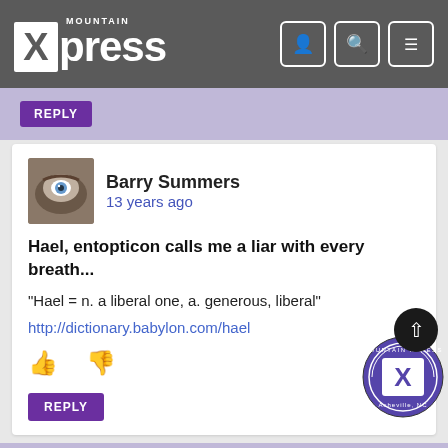Mountain Xpress
REPLY
Barry Summers
13 years ago
Hael, entopticon calls me a liar with every breath...
“Hael = n. a liberal one, a. generous, liberal”
http://dictionary.babylon.com/hael
REPLY
Carrie
13 years ago